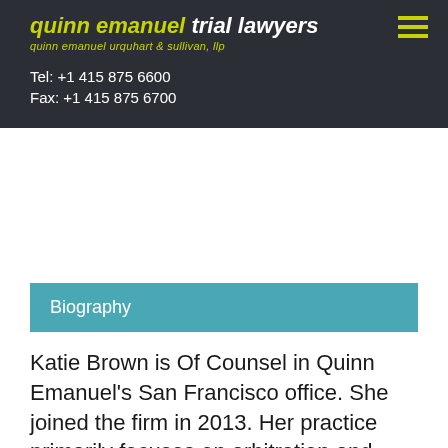quinn emanuel trial lawyers
quinn emanuel urquhart & sullivan, llp
Tel: +1 415 875 6600
Fax: +1 415 875 6700
Biography
Katie Brown is Of Counsel in Quinn Emanuel's San Francisco office. She joined the firm in 2013. Her practice primarily focuses on arbitration, and defense for int...